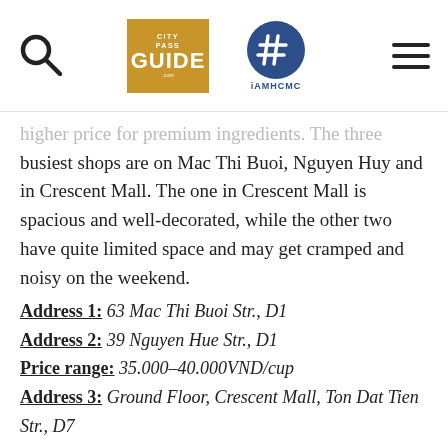City Pass Guide | iAMHCMC
higher price for premium ingredients. The three busiest shops are on Mac Thi Buoi, Nguyen Huy and in Crescent Mall. The one in Crescent Mall is spacious and well-decorated, while the other two have quite limited space and may get cramped and noisy on the weekend.
Address 1: 63 Mac Thi Buoi Str., D1
Address 2: 39 Nguyen Hue Str., D1
Price range: 35.000–40.000VND/cup
Address 3: Ground Floor, Crescent Mall, Ton Dat Tien Str., D7
Price range: 45.000–60.000VND/cup